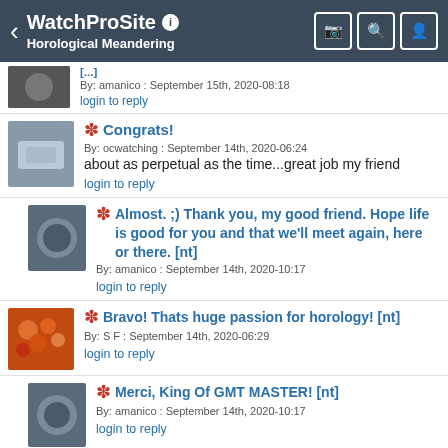WatchProSite — Horological Meandering
By: amanico : September 15th, 2020-08:18
login to reply
Congrats!
By: ocwatching : September 14th, 2020-06:24
about as perpetual as the time...great job my friend
login to reply
Almost. ;) Thank you, my good friend. Hope life is good for you and that we'll meet again, here or there. [nt]
By: amanico : September 14th, 2020-10:17
login to reply
Bravo! Thats huge passion for horology! [nt]
By: S F : September 14th, 2020-06:29
login to reply
Merci, King Of GMT MASTER! [nt]
By: amanico : September 14th, 2020-10:17
login to reply